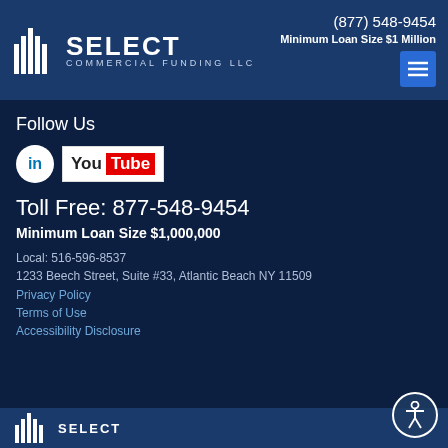[Figure (logo): Select Commercial Funding LLC logo with building icon, white text on dark blue background]
(877) 548-9454
Minimum Loan Size $1 Million
Follow Us
[Figure (logo): LinkedIn circle icon and YouTube logo badge]
Toll Free: 877-548-9454
Minimum Loan Size $1,000,000
Local: 516-596-8537
1233 Beech Street, Suite #33, Atlantic Beach NY 11509
Privacy Policy
Terms of Use
Accessibility Disclosure
[Figure (logo): Select Commercial Funding LLC footer logo on dark blue bar]